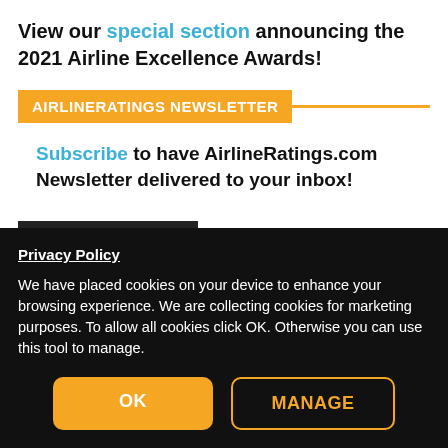View our special section announcing the 2021 Airline Excellence Awards!
AIRLINERATINGS NEWSLETTER
Subscribe to have AirlineRatings.com Newsletter delivered to your inbox!
Privacy Policy
We have placed cookies on your device to enhance your browsing experience. We are collecting cookies for marketing purposes. To allow all cookies click OK. Otherwise you can use this tool to manage.
OK
MANAGE